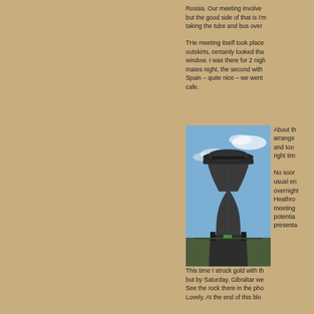Russia.  Our meeting involve... but the good side of that is I'm... taking the tube and bus over...
THe meeting itself took place... outskirts, certainly looked tha... window. I was there for 2 nigh... mates night, the second with... Spain – quite nice – we went... cafe.
[Figure (photo): A tall, narrow, hourglass-shaped observation or air traffic control tower with a dark metal exterior, set against a blue sky with light clouds. The tower has a wide top platform and a broad base with support structures.]
About th... arrange... and too... right tim...
No soor... usual en... overnight... Heathro... meeting... potentia... presenta...
This time I struck gold with th... but by Saturday, Gibraltar we... See the rock there in the pho... Lovely. At the end of this blo...